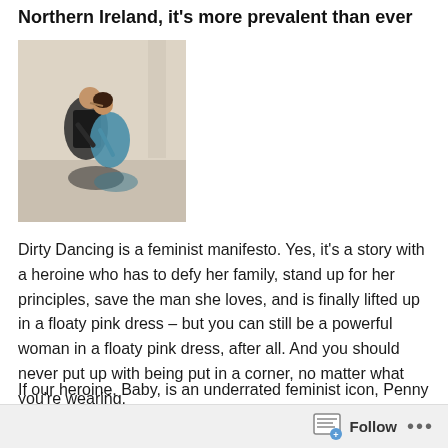Northern Ireland, it's more prevalent than ever
[Figure (photo): Movie still from Dirty Dancing showing two dancers in an intimate pose on a dance floor]
Dirty Dancing is a feminist manifesto. Yes, it's a story with a heroine who has to defy her family, stand up for her principles, save the man she loves, and is finally lifted up in a floaty pink dress – but you can still be a powerful woman in a floaty pink dress, after all. And you should never put up with being put in a corner, no matter what you're wearing.
If our heroine, Baby, is an underrated feminist icon, Penny – Johnny's dance partner, played by eighties pin-up Cynthia Rhodes – has the story that is the true challenge
Follow ···